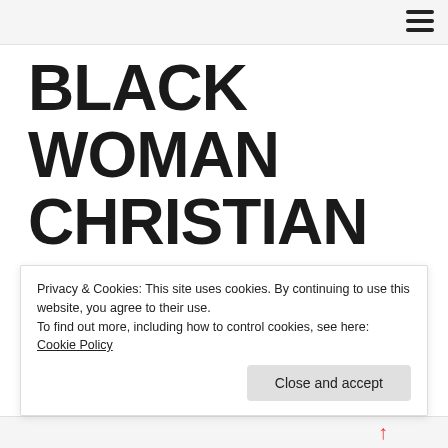BLACK WOMAN CHRISTIAN CERTIFIED LIFE COACH – BRENDA
Privacy & Cookies: This site uses cookies. By continuing to use this website, you agree to their use.
To find out more, including how to control cookies, see here: Cookie Policy
Close and accept